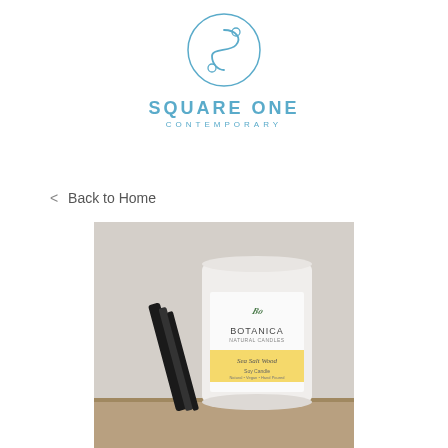[Figure (logo): Square One Contemporary logo — circular ornamental S icon in blue outline, with text SQUARE ONE and CONTEMPORARY below]
< Back to Home
[Figure (photo): Product photo of a white cylindrical candle jar with a yellow label reading BOTANICA and smaller text, with a black lid leaning against it, on a wooden surface with neutral grey background]